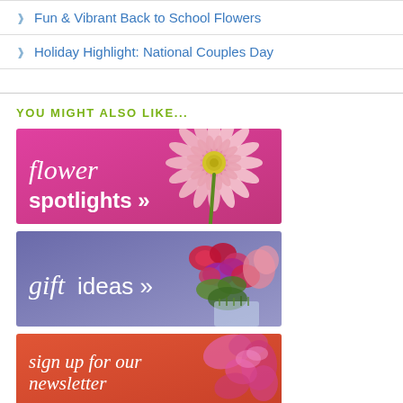Fun & Vibrant Back to School Flowers
Holiday Highlight: National Couples Day
YOU MIGHT ALSO LIKE...
[Figure (illustration): Flower spotlights banner: pink/magenta background with a large pink gerbera daisy. Text reads 'flower spotlights »']
[Figure (illustration): Gift ideas banner: purple/lavender background with a bouquet of red roses and purple flowers. Text reads 'gift ideas »']
[Figure (illustration): Sign up for our newsletter banner: coral/orange-red background with pink orchids. Text reads 'sign up for our newsletter']